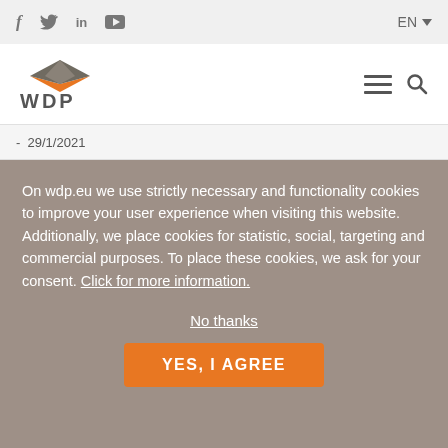f  twitter  in  youtube    EN
[Figure (logo): WDP company logo - orange diamond/arrow shape above text WDP]
- 29/1/2021
On wdp.eu we use strictly necessary and functionality cookies to improve your user experience when visiting this website. Additionally, we place cookies for statistic, social, targeting and commercial purposes. To place these cookies, we ask for your consent. Click for more information.
No thanks
YES, I AGREE